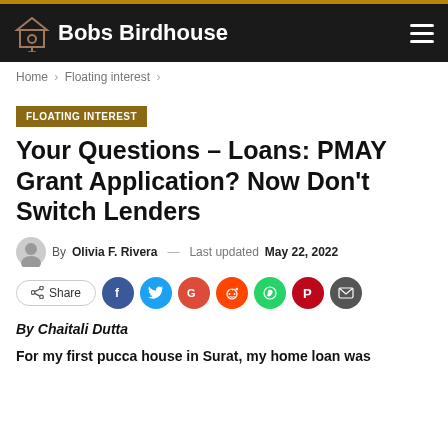Bobs Birdhouse
Home > Floating interest >
FLOATING INTEREST
Your Questions – Loans: PMAY Grant Application? Now Don't Switch Lenders
By Olivia F. Rivera — Last updated May 22, 2022
Share
By Chaitali Dutta
For my first pucca house in Surat, my home loan was